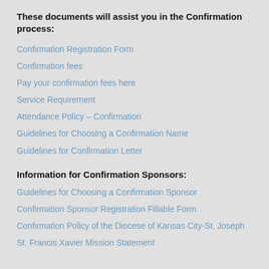These documents will assist you in the Confirmation process:
Confirmation Registration Form
Confirmation fees
Pay your confirmation fees here
Service Requirement
Attendance Policy – Confirmation
Guidelines for Choosing a Confirmation Name
Guidelines for Confirmation Letter
Information for Confirmation Sponsors:
Guidelines for Choosing a Confirmation Sponsor
Confirmation Sponsor Registration Fillable Form
Confirmation Policy of the Diocese of Kansas City-St. Joseph
St. Francis Xavier Mission Statement